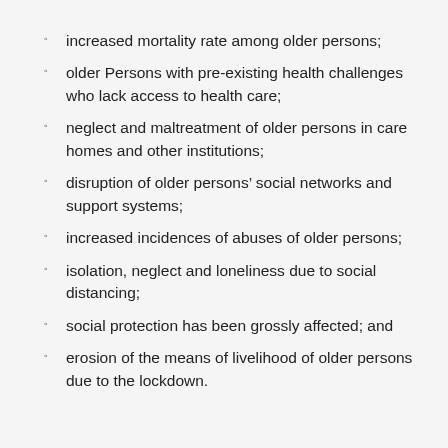increased mortality rate among older persons;
older Persons with pre-existing health challenges who lack access to health care;
neglect and maltreatment of older persons in care homes and other institutions;
disruption of older persons' social networks and support systems;
increased incidences of abuses of older persons;
isolation, neglect and loneliness due to social distancing;
social protection has been grossly affected; and
erosion of the means of livelihood of older persons due to the lockdown.